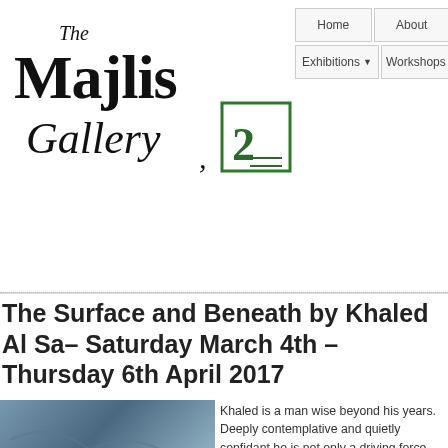[Figure (logo): The Majlis Gallery logo with stylized text and green square icon with calligraphic symbol]
Home | About | Sponsors | Exhibitions | Workshops
The Surface and Beneath by Khaled Al Sa– Saturday March 4th – Thursday 6th April 2017
[Figure (photo): Photo of Khaled Al Sa standing in front of a large blue calligraphic painting with arms crossed, wearing dark shirt]
Khaled is a man wise beyond his years. Deeply contemplative and quietly confidant he is not only a driving force behind modern Arab calligraphic practice but also a passionate advocate of a wider understanding of this formidable art. Recognition of his rightful place in the genre comes not only from auction houses, museums, universities and collectors worldwide but also from